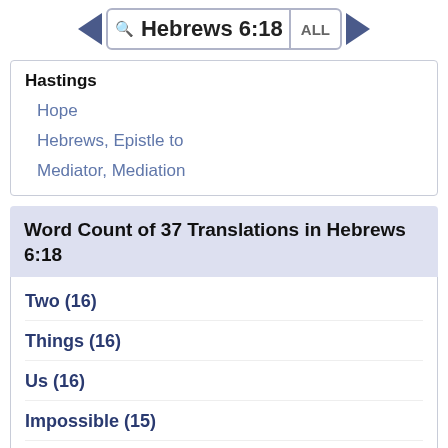Hebrews 6:18 ALL
Hastings
Hope
Hebrews, Epistle to
Mediator, Mediation
Word Count of 37 Translations in Hebrews 6:18
Two (16)
Things (16)
Us (16)
Impossible (15)
God (15)
Hope (15)